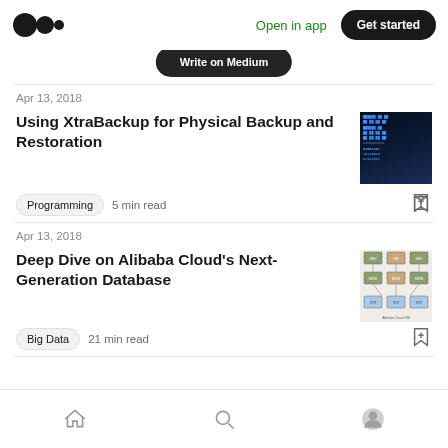Medium — Open in app — Get started
[Figure (screenshot): Partially visible 'Write on Medium' button]
Apr 13, 2018
Using XtraBackup for Physical Backup and Restoration
[Figure (photo): Dark terminal/code screenshot thumbnail]
Programming  5 min read
Apr 13, 2018
Deep Dive on Alibaba Cloud's Next-Generation Database
[Figure (screenshot): Database architecture diagram thumbnail]
Big Data  21 min read
Home | Search | Profile